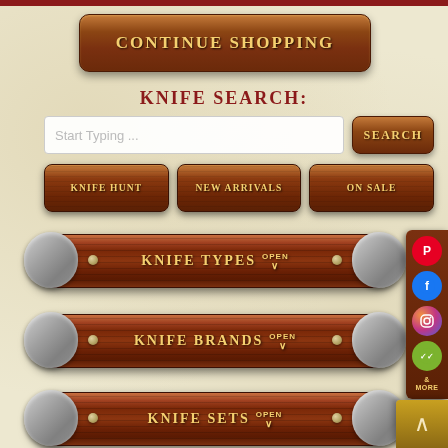[Figure (screenshot): Continue Shopping button with wood-textured brown background and golden text]
KNIFE SEARCH:
[Figure (screenshot): Search input field with placeholder 'Start Typing ...' and a Search button]
[Figure (screenshot): Three navigation buttons: KNIFE HUNT, NEW ARRIVALS, ON SALE]
[Figure (screenshot): Knife handle bar with KNIFE TYPES OPEN text and expand chevron]
[Figure (screenshot): Knife handle bar with KNIFE BRANDS OPEN text and expand chevron]
[Figure (screenshot): Knife handle bar with KNIFE SETS OPEN text and expand chevron]
[Figure (screenshot): Social media sidebar with Pinterest, Facebook, Instagram, WeChat icons and More text]
[Figure (screenshot): Back to top button with up arrow chevron]